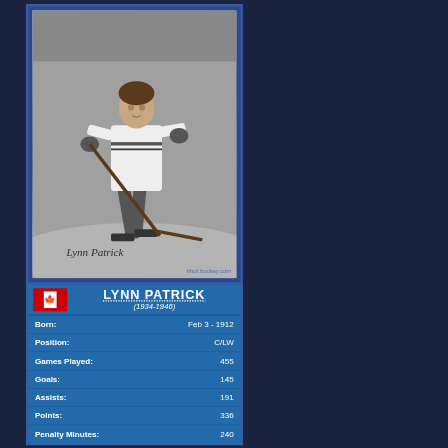[Figure (photo): Black and white vintage photo of hockey player Lynn Patrick in skating pose holding a hockey stick, with a signature at the bottom reading 'Lynn Patrick' and watermark 'hhof.hockey.com']
LYNN PATRICK (1934-1946)
| Stat | Value |
| --- | --- |
| Born: | Feb 3 - 1912 |
| Position: | C/LW |
| Games Played: | 455 |
| Goals: | 145 |
| Assists: | 191 |
| Points: | 336 |
| Penalty Minutes: | 240 |